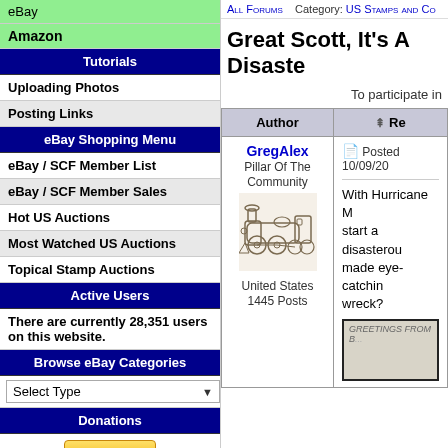eBay
Amazon
Tutorials
Uploading Photos
Posting Links
eBay Shopping Menu
eBay / SCF Member List
eBay / SCF Member Sales
Hot US Auctions
Most Watched US Auctions
Topical Stamp Auctions
Active Users
There are currently 28,351 users on this website.
Browse eBay Categories
Select Type
Donations
Donate
All Forums   Category: US Stamps and Co...
Great Scott, It's A Disaste...
To participate in...
| Author | Re... |
| --- | --- |
| GregAlex
Pillar Of The Community
[train image]
United States
1445 Posts | Posted 10/09/20...
With Hurricane M... start a disasterous... made eye-catching... wreck?
[postcard image] |
[Figure (illustration): Vintage engraving of a steam locomotive]
[Figure (photo): Partial postcard image labeled GREETINGS FROM B...]